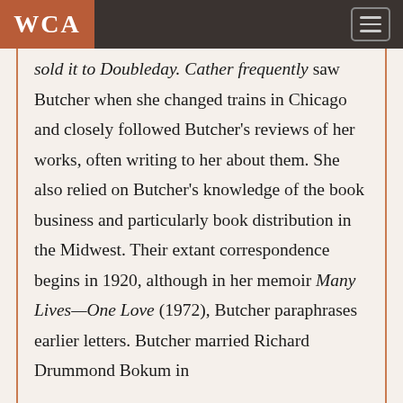WCA
sold it to Doubleday. Cather frequently saw Butcher when she changed trains in Chicago and closely followed Butcher's reviews of her works, often writing to her about them. She also relied on Butcher's knowledge of the book business and particularly book distribution in the Midwest. Their extant correspondence begins in 1920, although in her memoir Many Lives—One Love (1972), Butcher paraphrases earlier letters. Butcher married Richard Drummond Bokum in